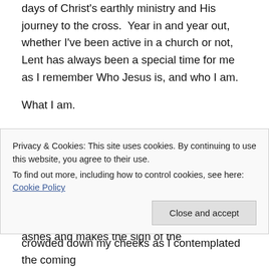days of Christ's earthly ministry and His journey to the cross.  Year in and year out, whether I've been active in a church or not, Lent has always been a special time for me as I remember Who Jesus is, and who I am.
What I am.
This year I am singing and serving in a Lutheran church, and their observance of Lent includes elements I had never experienced before, including The Imposition of Ashes, a portion of the Ash Wednesday service in which the pastor or priest takes ashes and makes the sign of the
Privacy & Cookies: This site uses cookies. By continuing to use this website, you agree to their use.
To find out more, including how to control cookies, see here: Cookie Policy
crowded down my cheeks as I contemplated the coming